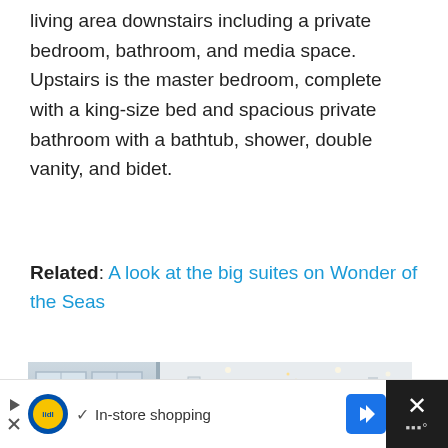living area downstairs including a private bedroom, bathroom, and media space. Upstairs is the master bedroom, complete with a king-size bed and spacious private bathroom with a bathtub, shower, double vanity, and bidet.
Related: A look at the big suites on Wonder of the Seas
[Figure (photo): Interior of a luxury cruise ship suite or hotel lobby showing a grand chandelier made of many small lights hanging from a high ceiling, with large windows, white pillars, and a modern open staircase with glass railings.]
In-store shopping [Lidl advertisement banner with navigation arrow and close button]